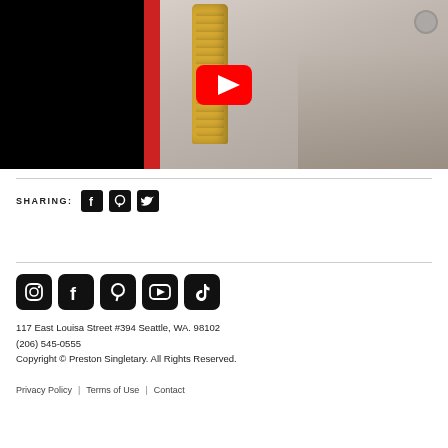[Figure (screenshot): YouTube video thumbnail showing a yellow carved totem figure in a workspace with people nearby, with a red YouTube play button overlay. Left portion of video is black.]
SHARING:
[Figure (infographic): Social sharing icons: Facebook, Pinterest, Twitter — dark square rounded buttons]
[Figure (infographic): Footer social media icons: Instagram, Facebook, Pinterest, YouTube, TikTok — large dark square rounded buttons]
117 East Louisa Street #394 Seattle, WA. 98102
(206) 545-0555
Copyright © Preston Singletary. All Rights Reserved.
Privacy Policy  |  Terms of Use  |  Contact